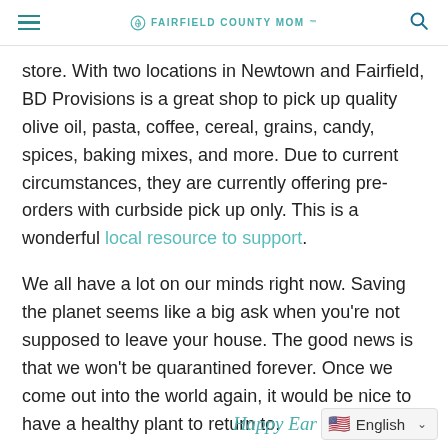FAIRFIELD COUNTY MOM
store. With two locations in Newtown and Fairfield, BD Provisions is a great shop to pick up quality olive oil, pasta, coffee, cereal, grains, candy, spices, baking mixes, and more. Due to current circumstances, they are currently offering pre-orders with curbside pick up only. This is a wonderful local resource to support.
We all have a lot on our minds right now. Saving the planet seems like a big ask when you're not supposed to leave your house. The good news is that we won't be quarantined forever. Once we come out into the world again, it would be nice to have a healthy plant to return to.
Happy Ear